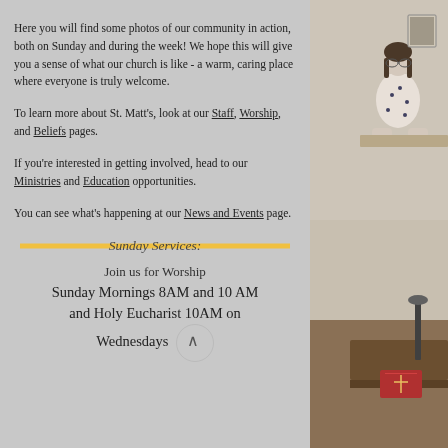Here you will find some photos of our community in action, both on Sunday and during the week! We hope this will give you a sense of what our church is like - a warm, caring place where everyone is truly welcome.
To learn more about St. Matt's, look at our Staff, Worship, and Beliefs pages.
If you're interested in getting involved, head to our Ministries and Education opportunities.
You can see what's happening at our News and Events page.
Sunday Services:
Join us for Worship
Sunday Mornings 8AM and 10 AM
and Holy Eucharist 10AM on Wednesdays
[Figure (photo): Photo of a person (woman) standing in a church setting, visible on the right side of the page]